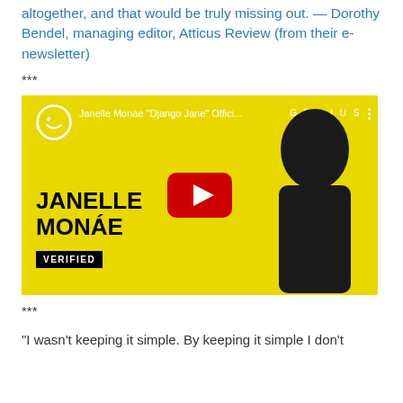altogether, and that would be truly missing out. — Dorothy Bendel, managing editor, Atticus Review (from their e-newsletter)
***
[Figure (screenshot): YouTube video thumbnail for Janelle Monàe 'Django Jane' Official video, hosted on Genius channel, showing Janelle Monáe in a black hat and jacket on a yellow background with VERIFIED label and play button]
***
"I wasn't keeping it simple. By keeping it simple I don't